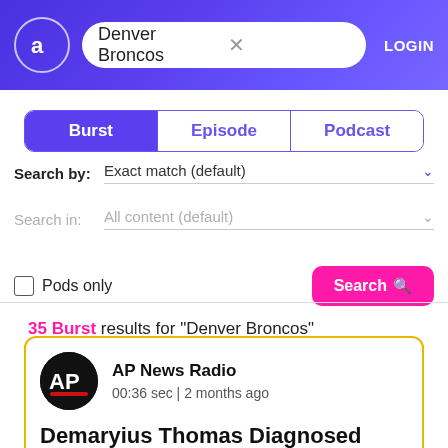Denver Broncos | LOGIN
Burst | Episode | Podcast
Search by: Exact match (default)
Search in: All content (default)
Pods only  Search
35 Burst results for "Denver Broncos"
AP News Radio
00:36 sec | 2 months ago

Demaryius Thomas Diagnosed With C.T.E., Family Reckons With His Death